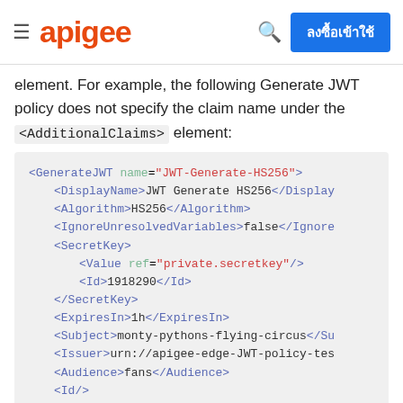apigee  [search] [ลงซื้อเข้าใช้]
element. For example, the following GenerateJWT policy does not specify the claim name under the <AdditionalClaims> element:
[Figure (screenshot): XML code block showing a GenerateJWT policy configuration with elements: DisplayName, Algorithm, IgnoreUnresolvedVariables, SecretKey (with Value ref and Id), ExpiresIn, Subject, Issuer, Audience, Id, AdditionalClaims (with Claim ref and type attributes).]